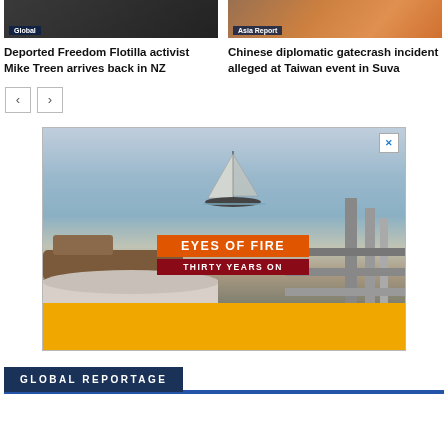[Figure (photo): Dark photo of a person, labeled Global]
[Figure (photo): Photo of people in orange vests, labeled Asia Report]
Deported Freedom Flotilla activist Mike Treen arrives back in NZ
Chinese diplomatic gatecrash incident alleged at Taiwan event in Suva
[Figure (photo): Advertisement image: Eyes of Fire – Thirty Years On. A sailing boat at sea with foreground boat parts visible. Orange and red text overlays. Yellow bottom bar.]
GLOBAL REPORTAGE